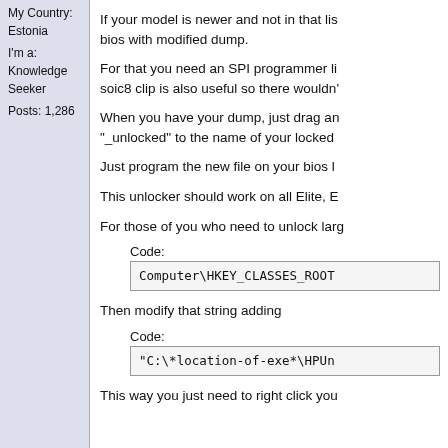My Country: Estonia
I'm a: Knowledge Seeker
Posts: 1,286
If your model is newer and not in that list you'll need to flash the bios with modified dump.
For that you need an SPI programmer li... soic8 clip is also useful so there wouldn't...
When you have your dump, just drag an... "_unlocked" to the name of your locked...
Just program the new file on your bios l...
This unlocker should work on all Elite, E...
For those of you who need to unlock larg...
Code:
Computer\HKEY_CLASSES_ROOT...
Then modify that string adding
Code:
"C:\*location-of-exe*\HPUn...
This way you just need to right click you...